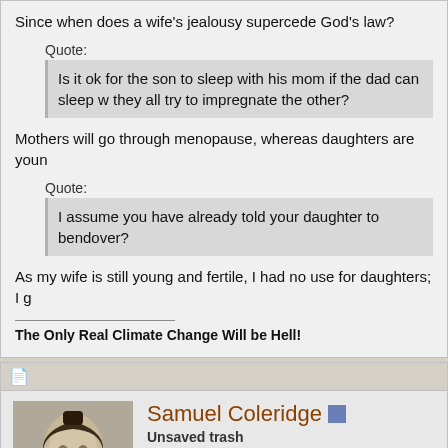Since when does a wife's jealousy supercede God's law?
Quote:
Is it ok for the son to sleep with his mom if the dad can sleep w they all try to impregnate the other?
Mothers will go through menopause, whereas daughters are youn
Quote:
I assume you have already told your daughter to bendover?
As my wife is still young and fertile, I had no use for daughters; I g
The Only Real Climate Change Will be Hell!
Samuel Coleridge
Unsaved trash